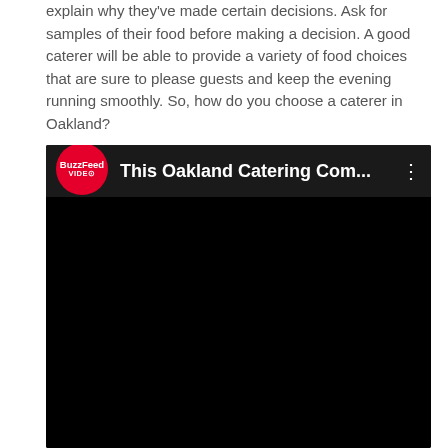explain why they've made certain decisions. Ask for samples of their food before making a decision. A good caterer will be able to provide a variety of food choices that are sure to please guests and keep the evening running smoothly. So, how do you choose a caterer in Oakland?
[Figure (screenshot): Embedded video player showing a BuzzFeed Video thumbnail. The header shows the BuzzFeed Video logo (red circle with white text) and the title 'This Oakland Catering Com...' with a three-dot menu icon. The video area is black (not loaded).]